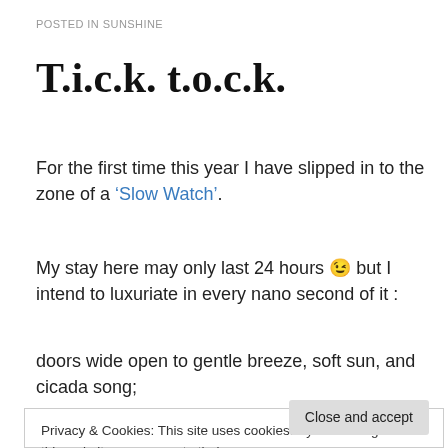POSTED IN SUNSHINE
T.i.c.k. t.o.c.k.
For the first time this year I have slipped in to the zone of a ‘Slow Watch’.
My stay here may only last 24 hours 😉 but I intend to luxuriate in every nano second of it :
doors wide open to gentle breeze, soft sun, and cicada song;
Privacy & Cookies: This site uses cookies. By continuing to use this website, you agree to their use.
To find out more, including how to control cookies, see here: Cookie Policy
Close and accept